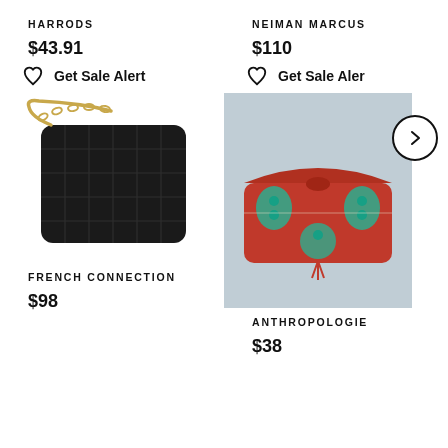HARRODS
$43.91
Get Sale Alert
[Figure (photo): Black quilted velvet crossbody bag with gold chain strap from French Connection]
FRENCH CONNECTION
$98
NEIMAN MARCUS
$110
Get Sale Aler
[Figure (photo): Red and teal embroidered floral clutch bag from Anthropologie on a grey background]
ANTHROPOLOGIE
$38